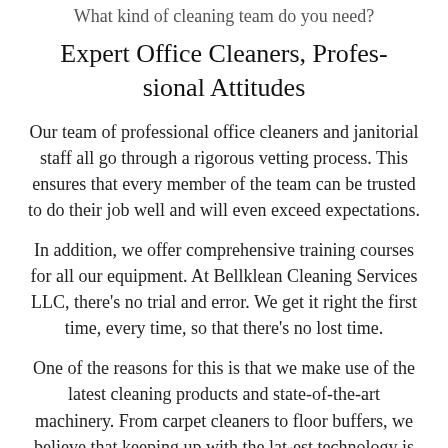What kind of cleaning team do you need?
Expert Office Cleaners, Profes-sional Attitudes
Our team of professional office cleaners and janitorial staff all go through a rigorous vetting process. This ensures that every member of the team can be trusted to do their job well and will even exceed expectations.
In addition, we offer comprehensive training courses for all our equipment. At Bellklean Cleaning Services LLC, there's no trial and error. We get it right the first time, every time, so that there's no lost time.
One of the reasons for this is that we make use of the latest cleaning products and state-of-the-art machinery. From carpet cleaners to floor buffers, we believe that keeping up with the lat-est technology is one way to